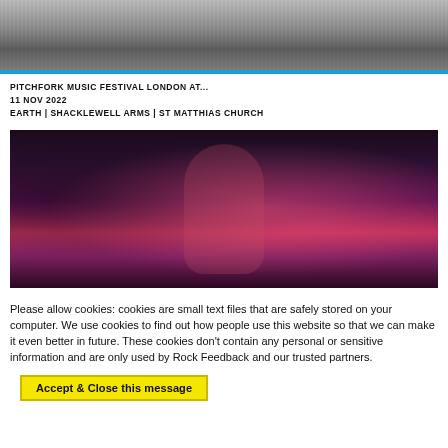[Figure (photo): Black and white photo of a person, partially visible at top of page]
PITCHFORK MUSIC FESTIVAL LONDON AT...
11 NOV 2022
EARTH | SHACKLEWELL ARMS | ST MATTHIAS CHURCH
[Figure (photo): Color photo of a young woman with arms raised, lit with pink/magenta lighting, against striped background with window to the left]
Please allow cookies: cookies are small text files that are safely stored on your computer. We use cookies to find out how people use this website so that we can make it even better in future. These cookies don't contain any personal or sensitive information and are only used by Rock Feedback and our trusted partners.
Accept & Close this message